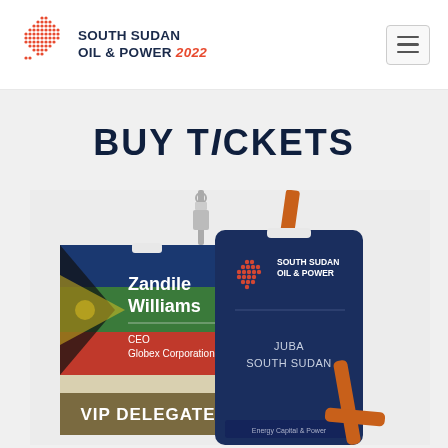[Figure (logo): South Sudan Oil & Power 2022 logo with orange dot-grid globe graphic and bold text]
BUY TICKETS
[Figure (photo): Conference badge mockup showing two lanyards: a landscape VIP Delegate badge for Zandile Williams, CEO Globex Corporation, and a navy portrait badge showing South Sudan Oil & Power logo with JUBA SOUTH SUDAN text]